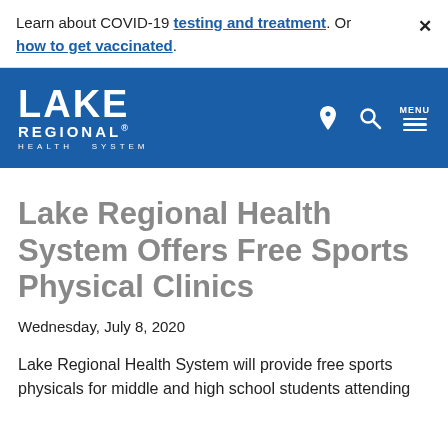Learn about COVID-19 testing and treatment. Or how to get vaccinated.
[Figure (logo): Lake Regional Health System logo — white text on blue background with navigation icons (location pin, search, menu)]
Lake Regional Health System Offers Free Sports Physical Clinics
Wednesday, July 8, 2020
Lake Regional Health System will provide free sports physicals for middle and high school students attending